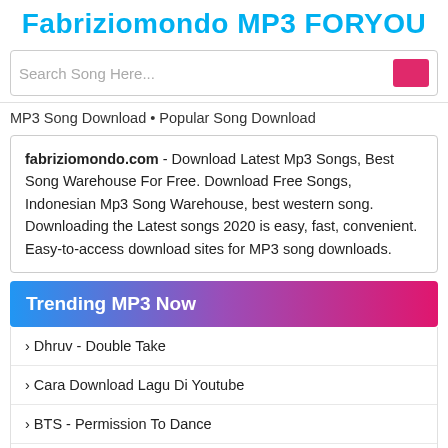Fabriziomondo MP3 FORYOU
Search Song Here...
MP3 Song Download • Popular Song Download
fabriziomondo.com - Download Latest Mp3 Songs, Best Song Warehouse For Free. Download Free Songs, Indonesian Mp3 Song Warehouse, best western song. Downloading the Latest songs 2020 is easy, fast, convenient. Easy-to-access download sites for MP3 song downloads.
Trending MP3 Now
› Dhruv - Double Take
› Cara Download Lagu Di Youtube
› BTS - Permission To Dance
› Jamie Miller - Here's Your Perfect